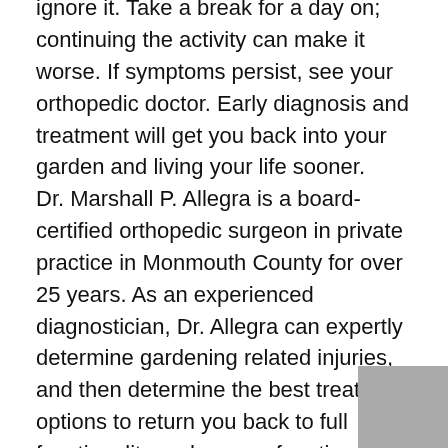ignore it. Take a break for a day on; continuing the activity can make it worse. If symptoms persist, see your orthopedic doctor. Early diagnosis and treatment will get you back into your garden and living your life sooner.
Dr. Marshall P. Allegra is a board-certified orthopedic surgeon in private practice in Monmouth County for over 25 years. As an experienced diagnostician, Dr. Allegra can expertly determine gardening related injuries, and then determine the best treatment options to return you back to full functionality and range of motion as quickly as possible and avoiding long term implications.